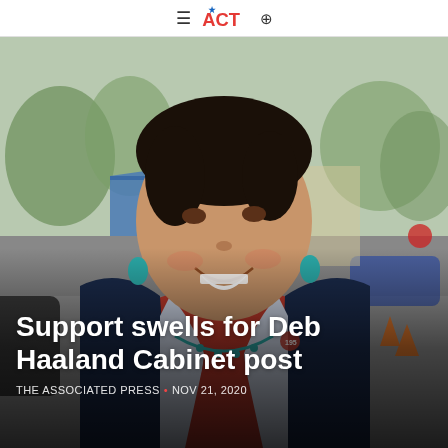ACT
[Figure (photo): A smiling woman with dark hair pulled back, wearing a navy blazer over a red top with a turquoise necklace and turquoise earrings, photographed outdoors at what appears to be a street event with blue tents and traffic cones in the background.]
Support swells for Deb Haaland Cabinet post
THE ASSOCIATED PRESS • NOV 21, 2020